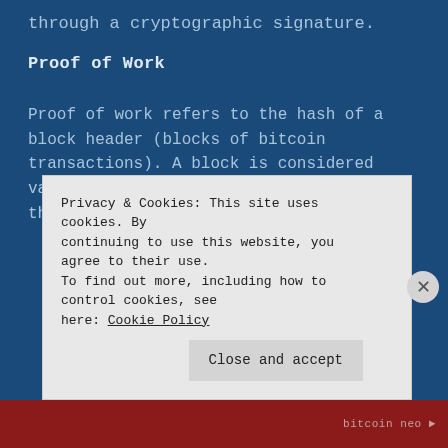through a cryptographic signature.
Proof of Work
Proof of work refers to the hash of a block header (blocks of bitcoin transactions). A block is considered valid only if its hash is lower than the current target. Each block refers
Privacy & Cookies: This site uses cookies. By continuing to use this website, you agree to their use. To find out more, including how to control cookies, see here: Cookie Policy
Close and accept